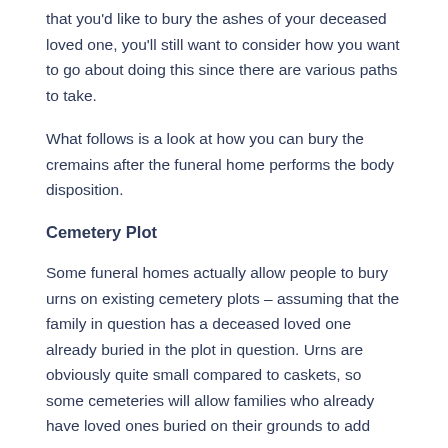that you'd like to bury the ashes of your deceased loved one, you'll still want to consider how you want to go about doing this since there are various paths to take.
What follows is a look at how you can bury the cremains after the funeral home performs the body disposition.
Cemetery Plot
Some funeral homes actually allow people to bury urns on existing cemetery plots – assuming that the family in question has a deceased loved one already buried in the plot in question. Urns are obviously quite small compared to caskets, so some cemeteries will allow families who already have loved ones buried on their grounds to add urns